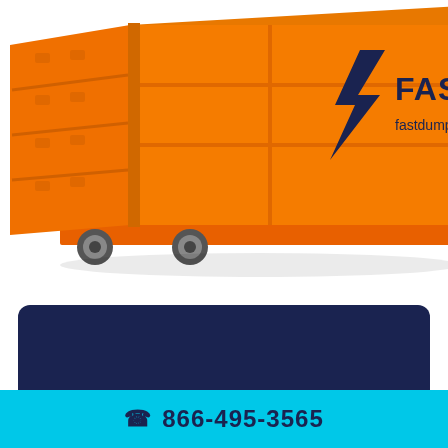[Figure (photo): Orange dumpster/roll-off container with Fast Dumpster logo (blue lightning bolt) and text 'FAST DUMPST' visible, with fastdumpster.com URL, cropped at right edge]
[Figure (other): Dark navy blue rounded rectangle card area]
866-495-3565